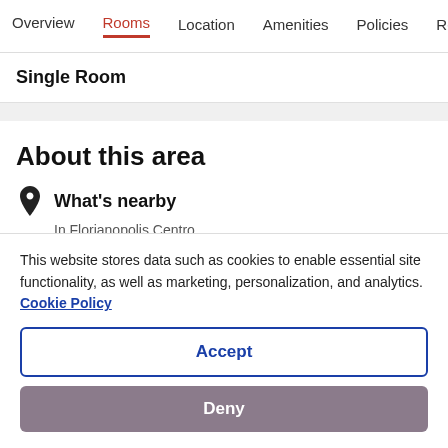Overview | Rooms | Location | Amenities | Policies | Reviews
Single Room
About this area
What's nearby
In Florianopolis Centro
This website stores data such as cookies to enable essential site functionality, as well as marketing, personalization, and analytics. Cookie Policy
Accept
Deny